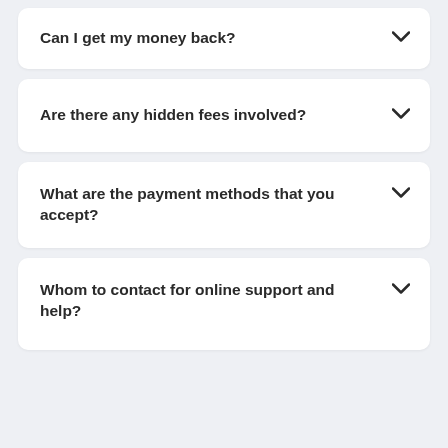Can I get my money back?
Are there any hidden fees involved?
What are the payment methods that you accept?
Whom to contact for online support and help?